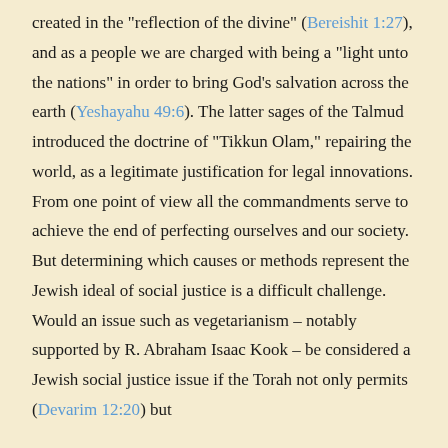created in the "reflection of the divine" (Bereishit 1:27), and as a people we are charged with being a "light unto the nations" in order to bring God's salvation across the earth (Yeshayahu 49:6).  The latter sages of the Talmud introduced the doctrine of "Tikkun Olam," repairing the world, as a legitimate justification for legal innovations. From one point of view all the commandments serve to achieve the end of perfecting ourselves and our society. But determining which causes or methods represent the Jewish ideal of social justice is a difficult challenge.  Would an issue such as vegetarianism – notably supported by R. Abraham Isaac Kook – be considered a Jewish social justice issue if the Torah not only permits (Devarim 12:20) but